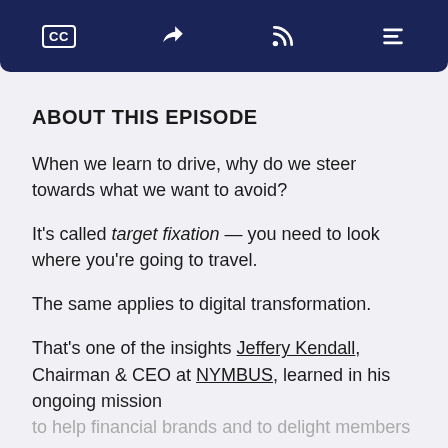CC [share] [RSS] [menu]
ABOUT THIS EPISODE
When we learn to drive, why do we steer towards what we want to avoid?
It's called target fixation — you need to look where you're going to travel.
The same applies to digital transformation.
That's one of the insights Jeffery Kendall, Chairman & CEO at NYMBUS, learned in his ongoing mission to help financial brands and to delight members